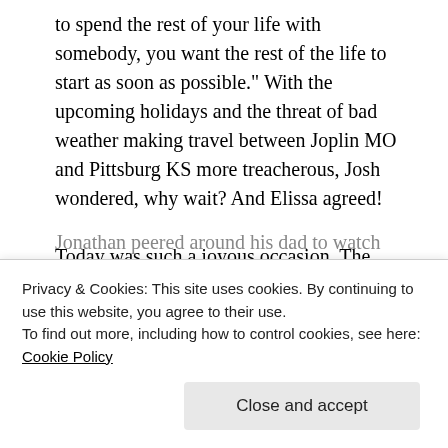to spend the rest of your life with somebody, you want the rest of the life to start as soon as possible." With the upcoming holidays and the threat of bad weather making travel between Joplin MO and Pittsburg KS more treacherous, Josh wondered, why wait? And Elissa agreed!
Today was such a joyous occasion. The ceremony was simple, classy, family oriented. Elissa's 15 year old son Dayan walked her down the aisle and gave her away. He stood tall by her side, while Josh's 9 year old son Jonathan stood proudly by his dad. What a sweet symbol of unity,
Jonathan peered around his dad to watch him kiss his
Privacy & Cookies: This site uses cookies. By continuing to use this website, you agree to their use.
To find out more, including how to control cookies, see here: Cookie Policy
Close and accept